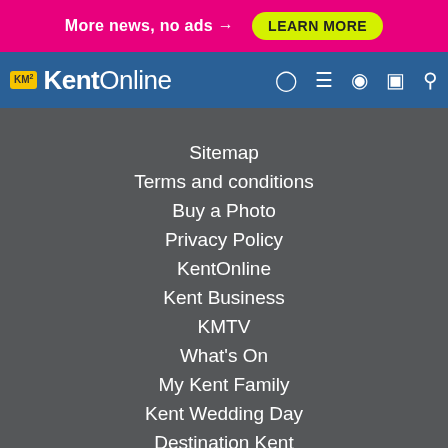[Figure (screenshot): Pink ad banner with text 'More news, no ads →' and a yellow 'LEARN MORE' button]
KentOnline navigation bar with KM logo and icons
Sitemap
Terms and conditions
Buy a Photo
Privacy Policy
KentOnline
Kent Business
KMTV
What's On
My Kent Family
Kent Wedding Day
Destination Kent
kmfm